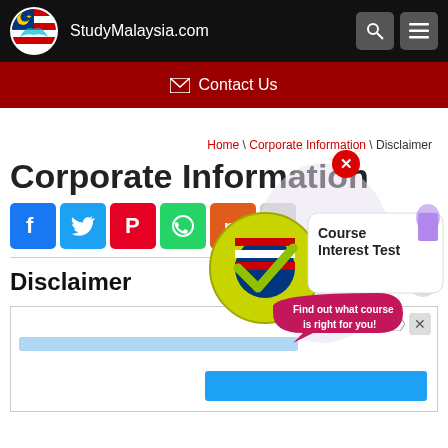StudyMalaysia.com
✉ Contact Us
Home \ Corporate Information \ Disclaimer
Corporate Information
[Figure (screenshot): Social media sharing icons: Facebook (blue), Twitter (light blue), Pinterest (red), WhatsApp (green), Mix (orange), and more]
[Figure (infographic): Course Interest Test popup with Malaysian girl illustration and checkmark logo. Text: 'Course Interest Test - Find out what course is right for you!']
Disclaimer
[Figure (screenshot): Advertisement box with light blue bar and blue button, with close icons in top right]